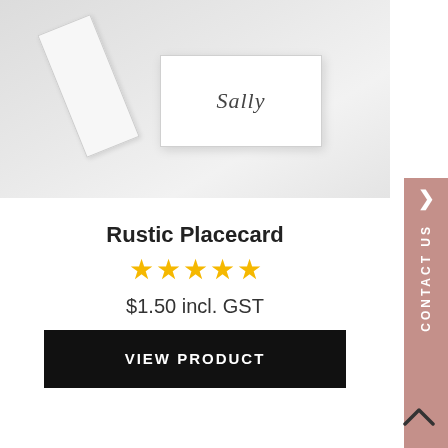[Figure (photo): Product photo of a rustic placecard — a white card with cursive 'Sally' text, with a tag strip in the background, on a light grey surface]
Rustic Placecard
★★★★★
$1.50 incl. GST
VIEW PRODUCT